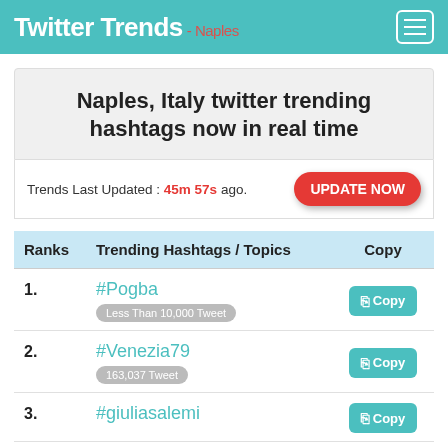Twitter Trends - Naples
Naples, Italy twitter trending hashtags now in real time
Trends Last Updated : 45m 57s ago. UPDATE NOW
| Ranks | Trending Hashtags / Topics | Copy |
| --- | --- | --- |
| 1. | #Pogba
Less Than 10,000 Tweet | Copy |
| 2. | #Venezia79
163,037 Tweet | Copy |
| 3. | #giuliasalemi | Copy |